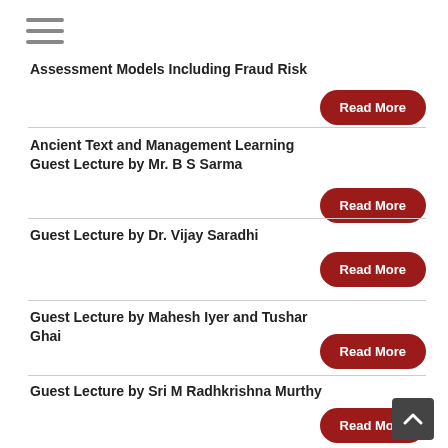[Figure (other): Hamburger menu icon (three horizontal lines)]
Assessment Models Including Fraud Risk
Ancient Text and Management Learning Guest Lecture by Mr. B S Sarma
Guest Lecture by Dr. Vijay Saradhi
Guest Lecture by Mahesh Iyer and Tushar Ghai
Guest Lecture by Sri M Radhkrishna Murthy
Guest Lecture by Mr. Udaya Shanker Jupudi from Oriental...